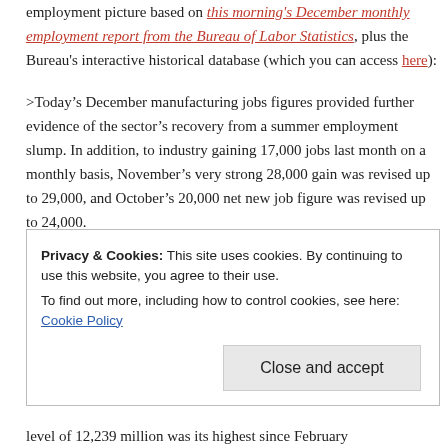employment picture based on this morning's December monthly employment report from the Bureau of Labor Statistics, plus the Bureau's interactive historical database (which you can access here):
>Today's December manufacturing jobs figures provided further evidence of the sector's recovery from a summer employment slump. In addition, to industry gaining 17,000 jobs last month on a monthly basis, November's very strong 28,000 gain was revised up to 29,000, and October's 20,000 net new job figure was revised up to 24,000.
Privacy & Cookies: This site uses cookies. By continuing to use this website, you agree to their use. To find out more, including how to control cookies, see here: Cookie Policy
Close and accept
level of 12,239 million was its highest since February